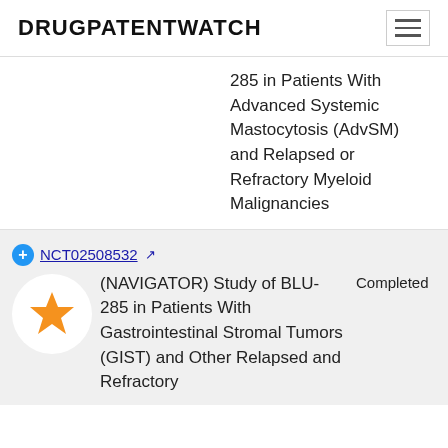DRUGPATENTWATCH
285 in Patients With Advanced Systemic Mastocytosis (AdvSM) and Relapsed or Refractory Myeloid Malignancies
NCT02508532 ↗ (NAVIGATOR) Study of BLU-285 in Patients With Gastrointestinal Stromal Tumors (GIST) and Other Relapsed and Refractory Completed